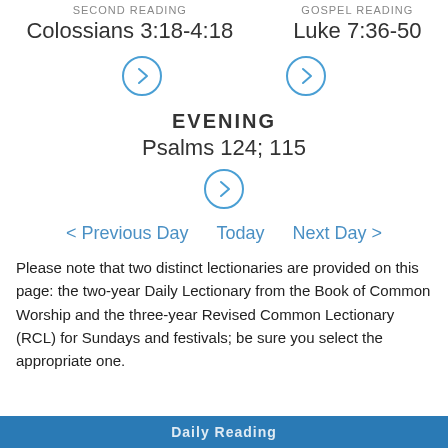SECOND READING   GOSPEL READING
Colossians 3:18-4:18    Luke 7:36-50
[Figure (other): Two circular arrow buttons (chevron right icons) for navigating to the Second Reading and Gospel Reading]
EVENING
Psalms 124; 115
[Figure (other): One circular arrow button (chevron right icon) for navigating to the Evening reading]
< Previous Day   Today   Next Day >
Please note that two distinct lectionaries are provided on this page: the two-year Daily Lectionary from the Book of Common Worship and the three-year Revised Common Lectionary (RCL) for Sundays and festivals; be sure you select the appropriate one.
Daily Reading